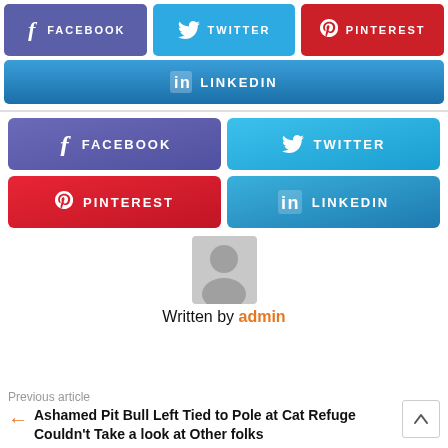[Figure (infographic): Social share buttons row 1: Facebook (purple), Twitter (blue), Pinterest (red)]
[Figure (infographic): LinkedIn full-width share button (blue gradient)]
[Figure (infographic): Social share buttons 2x2 grid: Facebook (purple), Twitter (blue), Pinterest (red), LinkedIn (blue)]
[Figure (infographic): Author avatar placeholder silhouette icon]
Written by admin
Previous article
Ashamed Pit Bull Left Tied to Pole at Cat Refuge Couldn't Take a look at Other folks